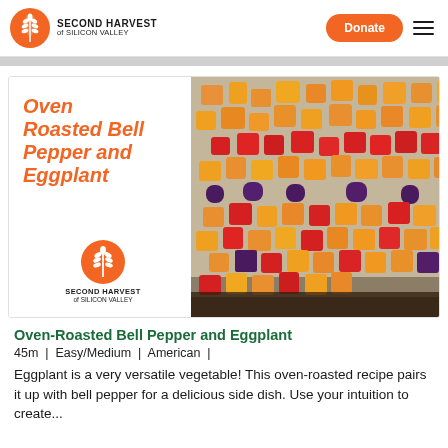SECOND HARVEST of SILICON VALLEY — Donate
[Figure (photo): Photo of oven-roasted bell pepper and eggplant in a foil baking tray, showing colorful orange, red, and purple vegetable chunks. Left side shows recipe title 'Oven Roasted Bell Pepper and Eggplant' in orange italic text with Second Harvest of Silicon Valley logo below.]
Oven-Roasted Bell Pepper and Eggplant
45m | Easy/Medium | American |
Eggplant is a very versatile vegetable! This oven-roasted recipe pairs it up with bell pepper for a delicious side dish. Use your intuition to create...